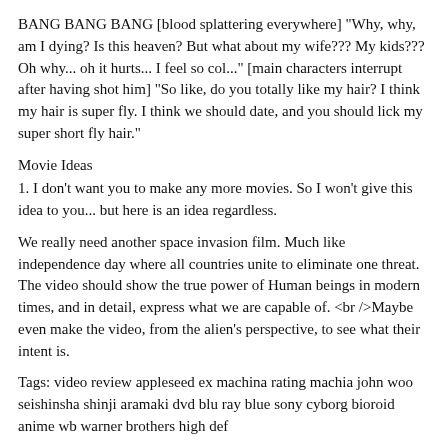BANG BANG BANG [blood splattering everywhere] "Why, why, am I dying? Is this heaven? But what about my wife??? My kids??? Oh why... oh it hurts... I feel so col..." [main characters interrupt after having shot him] "So like, do you totally like my hair? I think my hair is super fly. I think we should date, and you should lick my super short fly hair."
Movie Ideas
1. I don't want you to make any more movies. So I won't give this idea to you... but here is an idea regardless.
We really need another space invasion film. Much like independence day where all countries unite to eliminate one threat. The video should show the true power of Human beings in modern times, and in detail, express what we are capable of. <br />Maybe even make the video, from the alien's perspective, to see what their intent is.
Tags: video review appleseed ex machina rating machia john woo seishinsha shinji aramaki dvd blu ray blue sony cyborg bioroid anime wb warner brothers high def
http://onision.onision.com/2008/04/video-review-appleseed-ex-machina.html